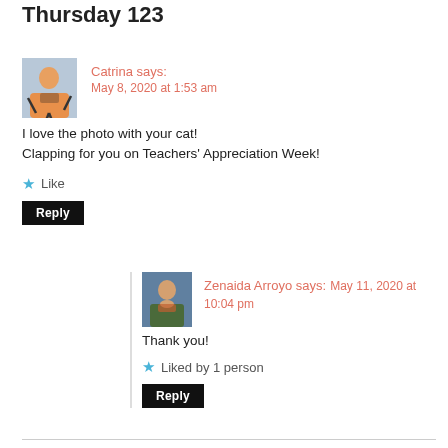Thursday 123
Catrina says:
May 8, 2020 at 1:53 am
I love the photo with your cat!
Clapping for you on Teachers' Appreciation Week!
Like
Reply
Zenaida Arroyo says:
May 11, 2020 at 10:04 pm
Thank you!
Liked by 1 person
Reply